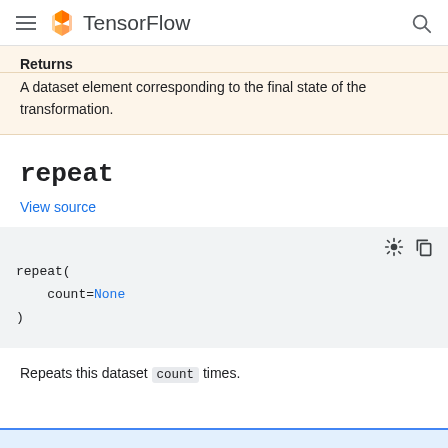TensorFlow
Returns
A dataset element corresponding to the final state of the transformation.
repeat
View source
repeat(
    count=None
)
Repeats this dataset count times.